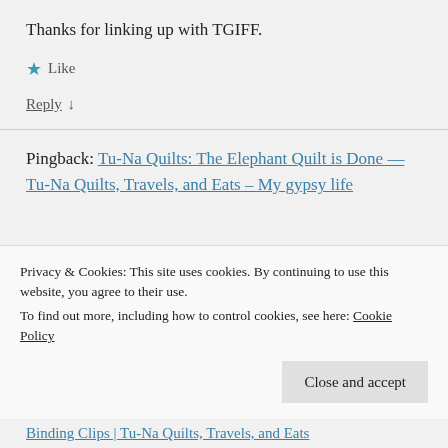Thanks for linking up with TGIFF.
★ Like
Reply ↓
Pingback: Tu-Na Quilts: The Elephant Quilt is Done — Tu-Na Quilts, Travels, and Eats – My gypsy life
Privacy & Cookies: This site uses cookies. By continuing to use this website, you agree to their use. To find out more, including how to control cookies, see here: Cookie Policy
Close and accept
Binding Clips | Tu-Na Quilts, Travels, and Eats